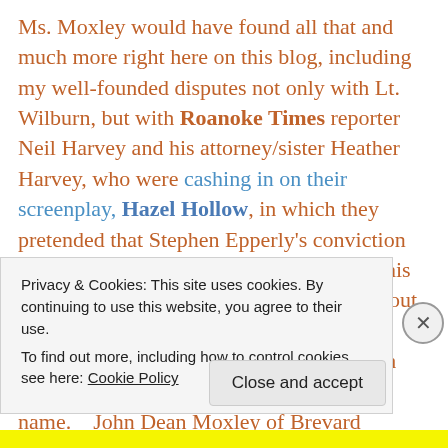Ms. Moxley would have found all that and much more right here on this blog, including my well-founded disputes not only with Lt. Wilburn, but with Roanoke Times reporter Neil Harvey and his attorney/sister Heather Harvey, who were cashing in on their screenplay, Hazel Hollow, in which they pretended that Stephen Epperly's conviction was justice, rather than an obscenity. On this blog, Ms. Moxley might even have found out that the name of the prosecutor who likely used John Preston to fool juries more often than any other prosecutor shares her last name. John Dean Moxley of Brevard County
Privacy & Cookies: This site uses cookies. By continuing to use this website, you agree to their use.
To find out more, including how to control cookies, see here: Cookie Policy